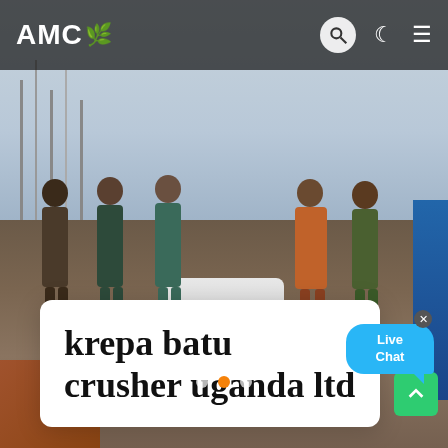[Figure (photo): Construction site background with workers standing around a white machine/equipment, sky visible in upper portion, orange/brown ground, blue element on right side, scaffolding on left]
AMC 🌿
krepa batu crusher uganda ltd
[Figure (infographic): Live Chat speech bubble widget in blue color with close X button]